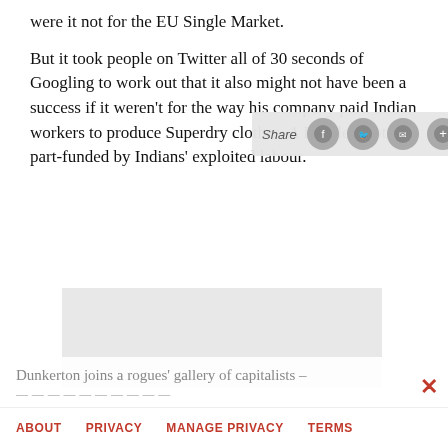were it not for the EU Single Market.
But it took people on Twitter all of 30 seconds of Googling to work out that it also might not have been a success if it weren't for the way his company paid Indian workers to produce Superdry clothes. A People's Vote, part-funded by Indians' exploited labour.
[Figure (other): Share toolbar overlay with Facebook, Twitter, email, and plus icons]
[Figure (other): Advertisement placeholder box (gray rectangle)]
Dunkerton joins a rogues' gallery of capitalists –
ABOUT   PRIVACY   MANAGE PRIVACY   TERMS